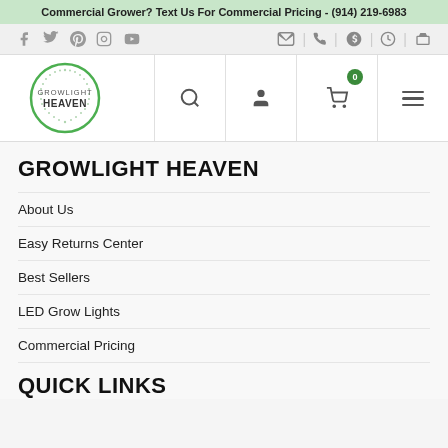Commercial Grower? Text Us For Commercial Pricing - (914) 219-6983
[Figure (logo): Growlight Heaven circular logo with green border and sunburst pattern]
GROWLIGHT HEAVEN
About Us
Easy Returns Center
Best Sellers
LED Grow Lights
Commercial Pricing
QUICK LINKS